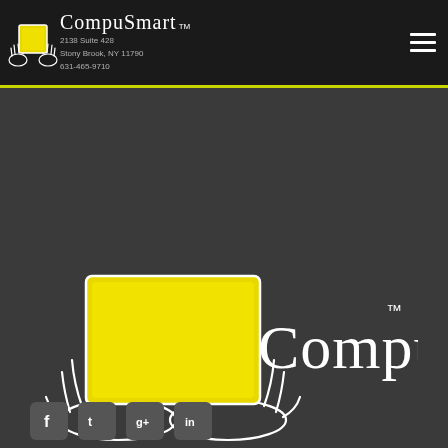CompuSmart™ 2138 Suite 428 Stony Brook, NY 11790 631-465-9710
[Figure (logo): CompuSmart logo — two white outlined hands holding a yellow square tablet/screen, with CompuSmart cursive text and TM mark, on dark background]
[Figure (other): Social media icon buttons — Facebook, Twitter, Google+, LinkedIn — gray rounded square buttons at the bottom of the page]